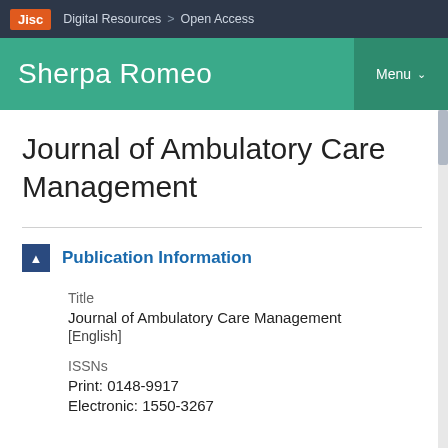Jisc  Digital Resources  >  Open Access
Sherpa Romeo  Menu
Journal of Ambulatory Care Management
Publication Information
Title
Journal of Ambulatory Care Management
[English]
ISSNs
Print: 0148-9917
Electronic: 1550-3267